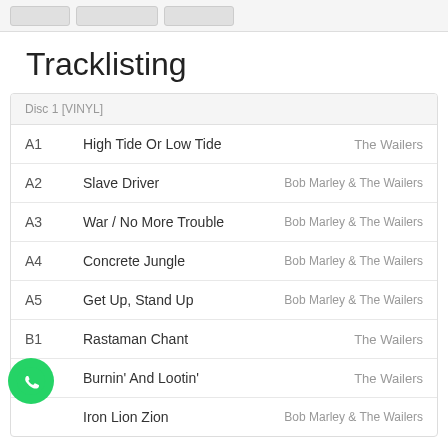Tracklisting
| # | Title | Artist |
| --- | --- | --- |
| A1 | High Tide Or Low Tide | The Wailers |
| A2 | Slave Driver | Bob Marley & The Wailers |
| A3 | War / No More Trouble | Bob Marley & The Wailers |
| A4 | Concrete Jungle | Bob Marley & The Wailers |
| A5 | Get Up, Stand Up | Bob Marley & The Wailers |
| B1 | Rastaman Chant | The Wailers |
| B2 | Burnin' And Lootin' | The Wailers |
| B3 | Iron Lion Zion | Bob Marley & The Wailers |
[Figure (logo): WhatsApp green phone icon]